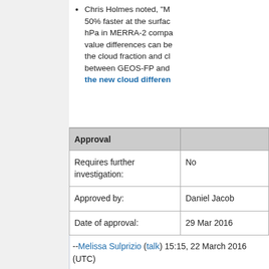Chris Holmes noted, "M... 50% faster at the surface... hPa in MERRA-2 compa... value differences can be... the cloud fraction and cl... between GEOS-FP and ... the new cloud differen..."
| Approval |  |
| --- | --- |
| Requires further investigation: | No |
| Approved by: | Daniel Jacob |
| Date of approval: | 29 Mar 2016 |
--Melissa Sulprizio (talk) 15:15, 22 March 2016 (UTC)